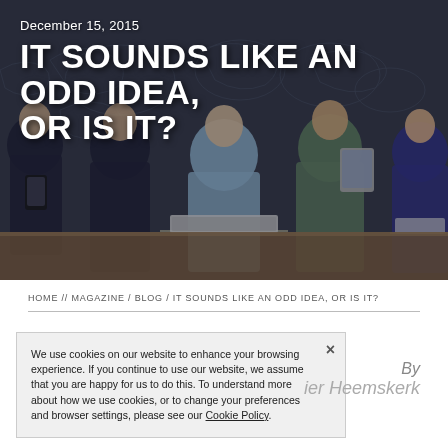[Figure (photo): Hero banner photograph of a group of young people sitting at a table using laptops, tablets, and smartphones, against a dark background with a world map. Text overlaid includes the date December 15, 2015 and the title IT SOUNDS LIKE AN ODD IDEA, OR IS IT?]
IT SOUNDS LIKE AN ODD IDEA, OR IS IT?
December 15, 2015
HOME // MAGAZINE / BLOG / IT SOUNDS LIKE AN ODD IDEA, OR IS IT?
We use cookies on our website to enhance your browsing experience. If you continue to use our website, we assume that you are happy for us to do this. To understand more about how we use cookies, or to change your preferences and browser settings, please see our Cookie Policy.
By
ier Heemskerk